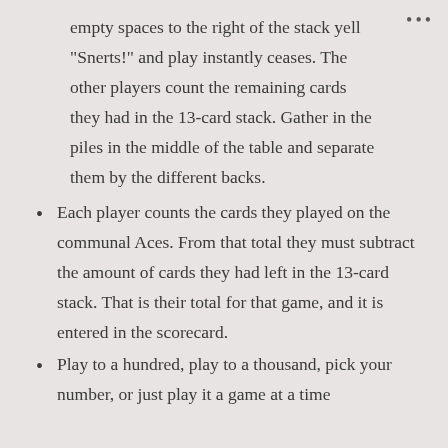empty spaces to the right of the stack yell “Snerts!” and play instantly ceases. The other players count the remaining cards they had in the 13-card stack. Gather in the piles in the middle of the table and separate them by the different backs.
Each player counts the cards they played on the communal Aces. From that total they must subtract the amount of cards they had left in the 13-card stack. That is their total for that game, and it is entered in the scorecard.
Play to a hundred, play to a thousand, pick your number, or just play it a game at a time